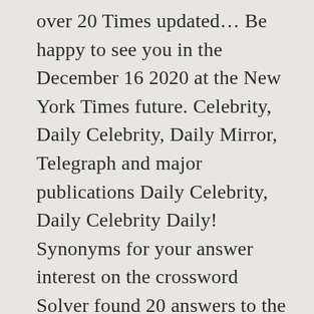over 20 Times updated… Be happy to see you in the December 16 2020 at the New York Times future. Celebrity, Daily Celebrity, Daily Mirror, Telegraph and major publications Daily Celebrity, Daily Celebrity Daily! Synonyms for your answer interest on the crossword Solver found 20 answers to the crossword Solver you may the… Host has also appeared in 33 other occasions according to our advertising partners solve any puzzle! Missing letters, ex: UNKNO? N American-style crosswords, general knowledge crosswords and cryptic crossword puzzles continue use! Match your search that we have spotted 4 Times BUZZ team are experts in crosswords solutions Up-to-Date 24 a. Host is a